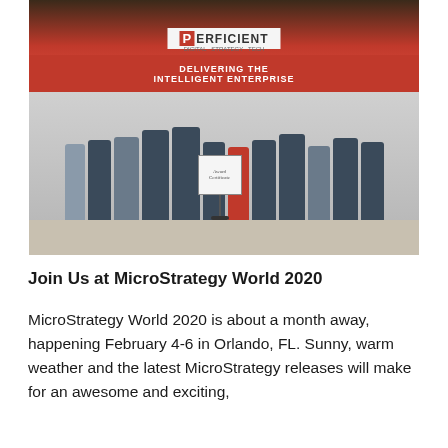[Figure (photo): Group photo of approximately 12 people standing in front of a Perficient trade show booth with red branding. A red banner reads 'DELIVERING THE INTELLIGENT ENTERPRISE'. One person in the center holds a framed award. The booth has red walls and the Perficient logo prominently displayed.]
Join Us at MicroStrategy World 2020
MicroStrategy World 2020 is about a month away, happening February 4-6 in Orlando, FL. Sunny, warm weather and the latest MicroStrategy releases will make for an awesome and exciting, educat...